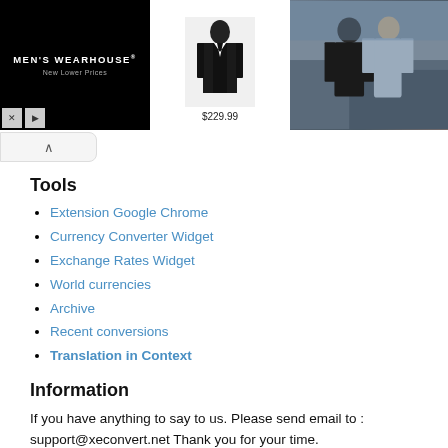[Figure (screenshot): Men's Wearhouse advertisement banner showing suit for $229.99 and a couple in formal wear]
Tools
Extension Google Chrome
Currency Converter Widget
Exchange Rates Widget
World currencies
Archive
Recent conversions
Translation in Context
Information
If you have anything to say to us. Please send email to : support@xeconvert.net Thank you for your time.
© xeconvert.com 2022